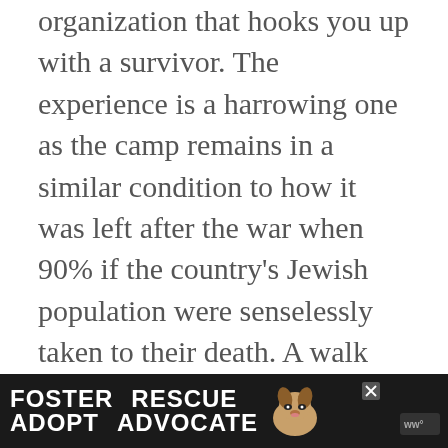organization that hooks you up with a survivor. The experience is a harrowing one as the camp remains in a similar condition to how it was left after the war when 90% if the country's Jewish population were senselessly taken to their death. A walk through the camp takes you through the gas chambers, and also through an exhibition where visitors bear witness to large piles of the prisoners' hair, suitcases, and multitudes of shoes, among other things removed fr...
[Figure (other): Advertisement banner at bottom of page: dark background with dog photo and text 'FOSTER RESCUE ADOPT ADVOCATE' with close button and logo icon.]